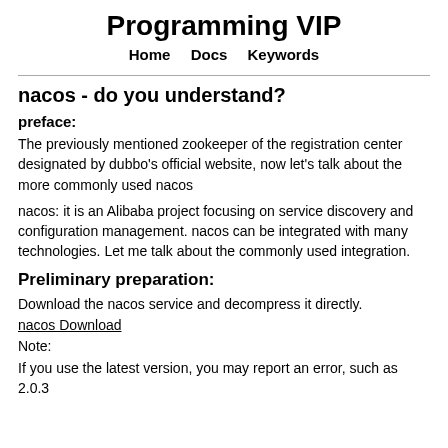Programming VIP
Home   Docs   Keywords
nacos - do you understand?
preface:
The previously mentioned zookeeper of the registration center designated by dubbo's official website, now let's talk about the more commonly used nacos
nacos: it is an Alibaba project focusing on service discovery and configuration management. nacos can be integrated with many technologies. Let me talk about the commonly used integration.
Preliminary preparation:
Download the nacos service and decompress it directly.
nacos Download
Note:
If you use the latest version, you may report an error, such as 2.0.3